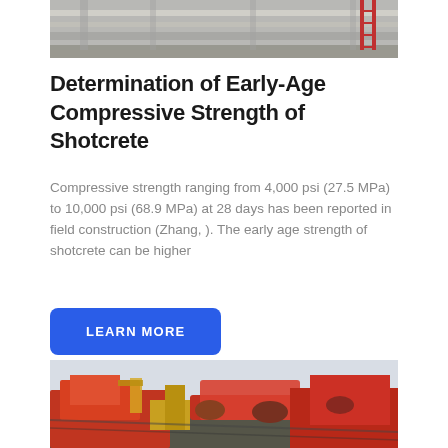[Figure (photo): Industrial machinery or equipment on a concrete surface, partial view cropped at top]
Determination of Early-Age Compressive Strength of Shotcrete
Compressive strength ranging from 4,000 psi (27.5 MPa) to 10,000 psi (68.9 MPa) at 28 days has been reported in field construction (Zhang, ). The early age strength of shotcrete can be higher
LEARN MORE
[Figure (photo): Red and orange heavy construction machinery (crusher or screening equipment) in an outdoor field setting]